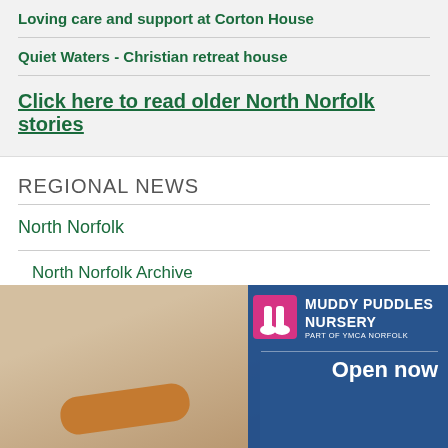Loving care and support at Corton House
Quiet Waters - Christian retreat house
Click here to read older North Norfolk stories
REGIONAL NEWS
North Norfolk
North Norfolk Archive
[Figure (photo): Photo of a woman and child playing with a cardboard tube, with a Muddy Puddles Nursery (part of YMCA Norfolk) advertisement overlay showing 'Open now']